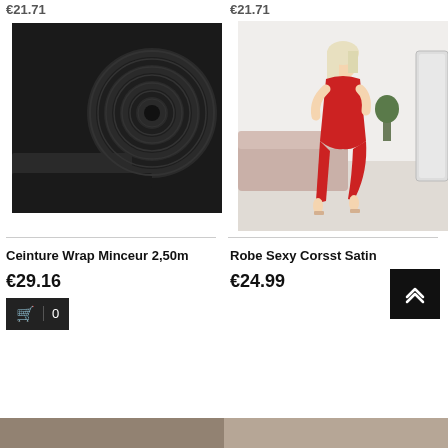€21.71
€21.71
[Figure (photo): Rolled black elastic fabric band, product photo on white background]
[Figure (photo): Woman wearing red satin corset dress with slit, standing in a room with pink sofa and mirror]
Ceinture Wrap Minceur 2,50m
Robe Sexy Corsst Satin
€29.16
€24.99
[Figure (photo): Partial thumbnail of another product at the bottom left]
[Figure (photo): Partial thumbnail of another product at the bottom right]